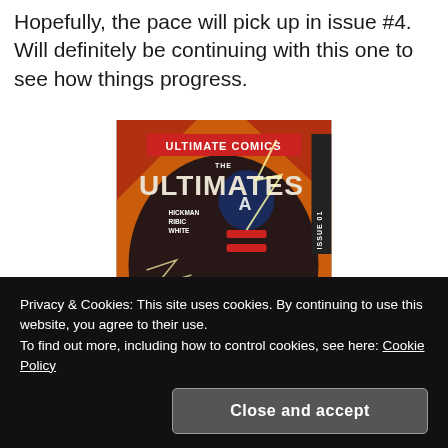Hopefully, the pace will pick up in issue #4.  Will definitely be continuing with this one to see how things progress.
[Figure (illustration): Cover of Ultimate Comics: The Ultimates Issue #1, featuring Captain America, Iron Man, and Thor, by Hickman, Ribic, White.]
Privacy & Cookies: This site uses cookies. By continuing to use this website, you agree to their use. To find out more, including how to control cookies, see here: Cookie Policy